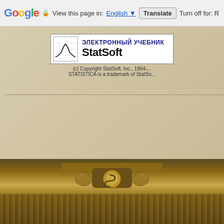Google  View this page in: English  Translate  Turn off for: R
using the same notation and symbo... above for the density and reliability...
[Figure (logo): StatSoft Электронный Учебник logo with graph icon]
(c) Copyright StatSoft, Inc., 1984-... STATISTICA is a trademark of StatSo...